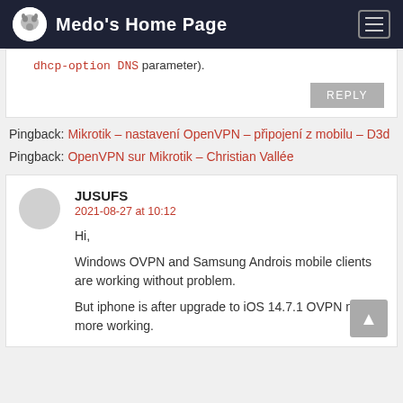Medo's Home Page
dhcp-option DNS parameter).
REPLY
Pingback: Mikrotik – nastavení OpenVPN – připojení z mobilu – D3d
Pingback: OpenVPN sur Mikrotik – Christian Vallée
JUSUFS
2021-08-27 at 10:12
Hi,
Windows OVPN and Samsung Androis mobile clients are working without problem.

But iphone is after upgrade to iOS 14.7.1 OVPN not more working.